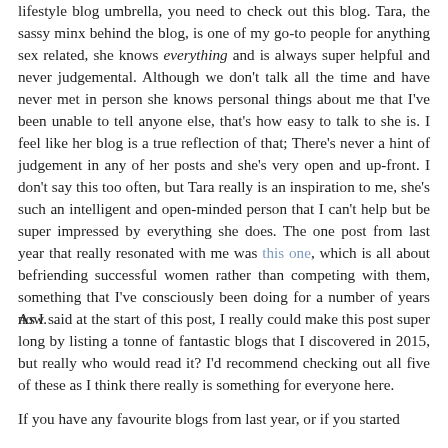lifestyle blog umbrella, you need to check out this blog. Tara, the sassy minx behind the blog, is one of my go-to people for anything sex related, she knows everything and is always super helpful and never judgemental. Although we don't talk all the time and have never met in person she knows personal things about me that I've been unable to tell anyone else, that's how easy to talk to she is. I feel like her blog is a true reflection of that; There's never a hint of judgement in any of her posts and she's very open and up-front. I don't say this too often, but Tara really is an inspiration to me, she's such an intelligent and open-minded person that I can't help but be super impressed by everything she does. The one post from last year that really resonated with me was this one, which is all about befriending successful women rather than competing with them, something that I've consciously been doing for a number of years now.
As I said at the start of this post, I really could make this post super long by listing a tonne of fantastic blogs that I discovered in 2015, but really who would read it? I'd recommend checking out all five of these as I think there really is something for everyone here.
If you have any favourite blogs from last year, or if you started blogging yourself last year, why don't you let me know in the comments below?